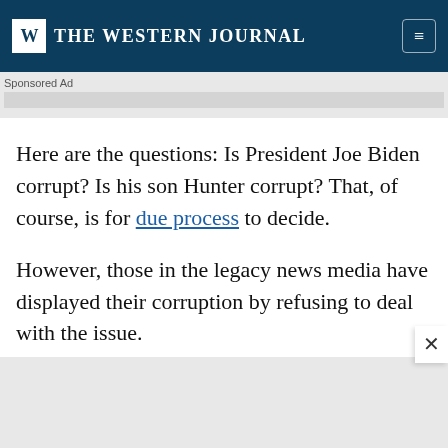THE WESTERN JOURNAL
Sponsored Ad
Here are the questions: Is President Joe Biden corrupt? Is his son Hunter corrupt? That, of course, is for due process to decide.
However, those in the legacy news media have displayed their corruption by refusing to deal with the issue.